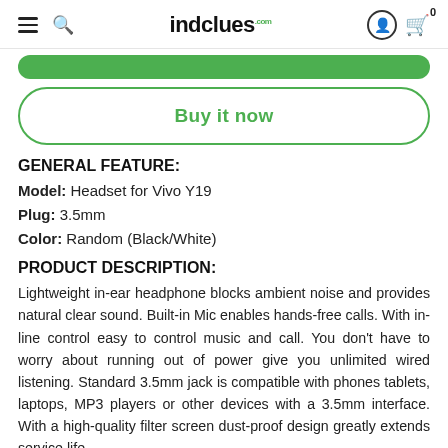indclues.com
GENERAL FEATURE:
Model: Headset for Vivo Y19
Plug: 3.5mm
Color: Random (Black/White)
PRODUCT DESCRIPTION:
Lightweight in-ear headphone blocks ambient noise and provides natural clear sound. Built-in Mic enables hands-free calls. With in-line control easy to control music and call. You don't have to worry about running out of power give you unlimited wired listening. Standard 3.5mm jack is compatible with phones tablets, laptops, MP3 players or other devices with a 3.5mm interface. With a high-quality filter screen dust-proof design greatly extends service life.